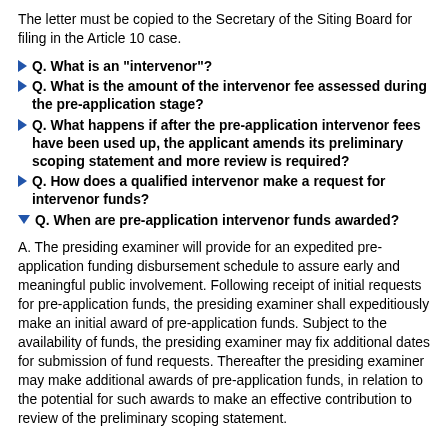The letter must be copied to the Secretary of the Siting Board for filing in the Article 10 case.
Q. What is an "intervenor"?
Q. What is the amount of the intervenor fee assessed during the pre-application stage?
Q. What happens if after the pre-application intervenor fees have been used up, the applicant amends its preliminary scoping statement and more review is required?
Q. How does a qualified intervenor make a request for intervenor funds?
Q. When are pre-application intervenor funds awarded?
A. The presiding examiner will provide for an expedited pre-application funding disbursement schedule to assure early and meaningful public involvement. Following receipt of initial requests for pre-application funds, the presiding examiner shall expeditiously make an initial award of pre-application funds. Subject to the availability of funds, the presiding examiner may fix additional dates for submission of fund requests. Thereafter the presiding examiner may make additional awards of pre-application funds, in relation to the potential for such awards to make an effective contribution to review of the preliminary scoping statement.